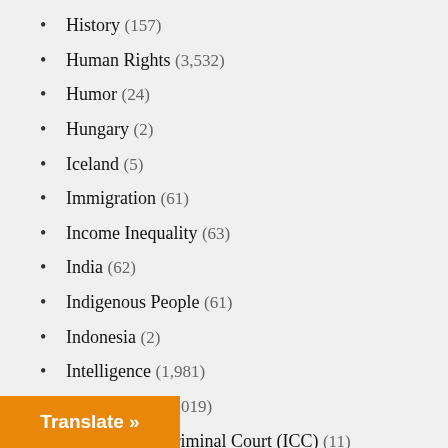History (157)
Human Rights (3,532)
Humor (24)
Hungary (2)
Iceland (5)
Immigration (61)
Income Inequality (63)
India (62)
Indigenous People (61)
Indonesia (2)
Intelligence (1,981)
International (1,019)
International Criminal Court (ICC) (11)
International News Analysis (115)
Iran (184)
Iran-Contra (12)
Iraq (189)
Ireland (10)